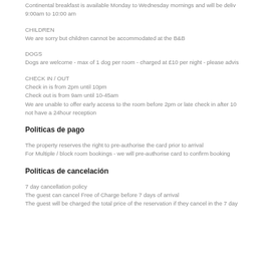Continental breakfast is available Monday to Wednesday mornings and will be delivered 9:00am to 10:00 am
CHILDREN
We are sorry but children cannot be accommodated at the B&B
DOGS
Dogs are welcome - max of 1 dog per room - charged at £10 per night - please advis
CHECK IN / OUT
Check in is from 2pm until 10pm
Check out is from 9am until 10-45am
We are unable to offer early access to the room before 2pm or late check in after 10 not have a 24hour reception
Politicas de pago
The property reserves the right to pre-authorise the card prior to arrival
For Multiple / block room bookings - we will pre-authorise card to confirm booking
Politicas de cancelación
7 day cancellation policy
The guest can cancel Free of Charge before 7 days of arrival
The guest will be charged the total price of the reservation if they cancel in the 7 day